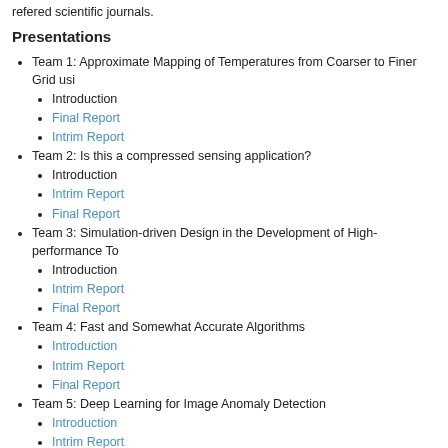refered scientific journals.
Presentations
Team 1: Approximate Mapping of Temperatures from Coarser to Finer Grid usi...
Introduction
Final Report
Intrim Report
Team 2: Is this a compressed sensing application?
Introduction
Intrim Report
Final Report
Team 3: Simulation-driven Design in the Development of High-performance To...
Introduction
Intrim Report
Final Report
Team 4: Fast and Somewhat Accurate Algorithms
Introduction
Intrim Report
Final Report
Team 5: Deep Learning for Image Anomaly Detection
Introduction
Intrim Report
Final Report
Team 6: Deducing Rock Properties from Spectral Seismic Data
Introduction